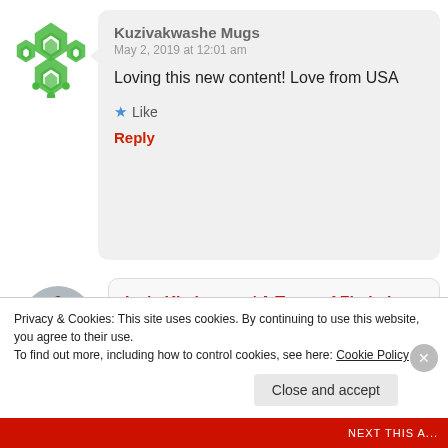[Figure (illustration): Green geometric/mosaic avatar icon for user Kuzivakwashe Mugs]
Kuzivakwashe Mugs
May 2, 2019 at 12:01 am

Loving this new content! Love from USA

★ Like

Reply
[Figure (photo): Circular profile photo of a person for Ivy's Kitchenette/ A Taste of Zimbabwe]
Ivy's Kitchenette/ A Taste of Zimbabwe
May 2, 2019 at 11:06 am
Privacy & Cookies: This site uses cookies. By continuing to use this website, you agree to their use.
To find out more, including how to control cookies, see here: Cookie Policy
Close and accept